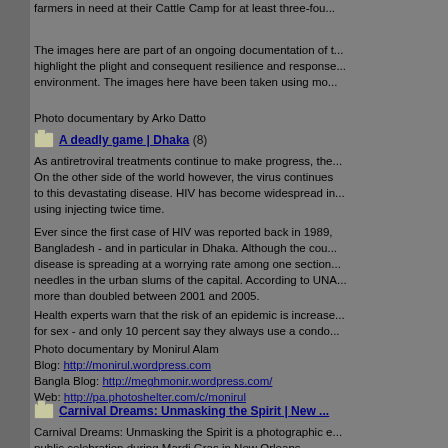farmers in need at their Cattle Camp for at least three-fou...
The images here are part of an ongoing documentation of t... highlight the plight and consequent resilience and response... environment. The images here have been taken using mo...
Photo documentary by Arko Datto
A deadly game | Dhaka (8)
As antiretroviral treatments continue to make progress, the... On the other side of the world however, the virus continues to this devastating disease. HIV has become widespread in... using injecting twice time.
Ever since the first case of HIV was reported back in 1989, Bangladesh - and in particular in Dhaka. Although the cou... disease is spreading at a worrying rate among one section... needles in the urban slums of the capital. According to UNA... more than doubled between 2001 and 2005.
Health experts warn that the risk of an epidemic is increase... for sex - and only 10 percent say they always use a condo...
Photo documentary by Monirul Alam
Blog: http://monirul.wordpress.com
Bangla Blog: http://meghmonir.wordpress.com/
Web: http://pa.photoshelter.com/c/monirul
Carnival Dreams: Unmasking the Spirit | New ...
Carnival Dreams: Unmasking the Spirit is a photographic e... public celebration during Mardi Gras in New Orleans.
Photo documentary by Marta Ze
Marta Ze was born in Bogotï¿½ Colombia, raised in New Y...
She's photographed in the former U.S.S.R, Uzbekistan, Me... Her photos have shown in galleries and museums through... mental hospital in Colombia. She's also worked as a still ph... actors such as Nicolas Cage, John Savage, and Ma...